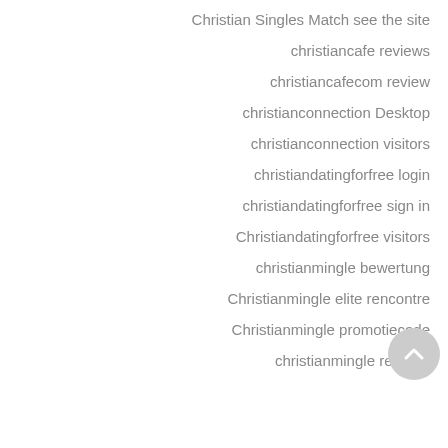Christian Singles Match see the site
christiancafe reviews
christiancafecom review
christianconnection Desktop
christianconnection visitors
christiandatingforfree login
christiandatingforfree sign in
Christiandatingforfree visitors
christianmingle bewertung
Christianmingle elite rencontre
Christianmingle promotiecode
christianmingle reviews